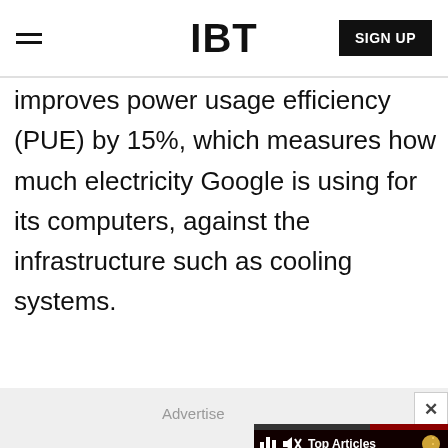IBT
improves power usage efficiency (PUE) by 15%, which measures how much electricity Google is using for its computers, against the infrastructure such as cooling systems.
[Figure (screenshot): IBT website screenshot showing a video card overlay with 'Top Articles' label and 'NewSpiderGenus,Se...' subtitle, along with an advertise label and close button]
Advertise